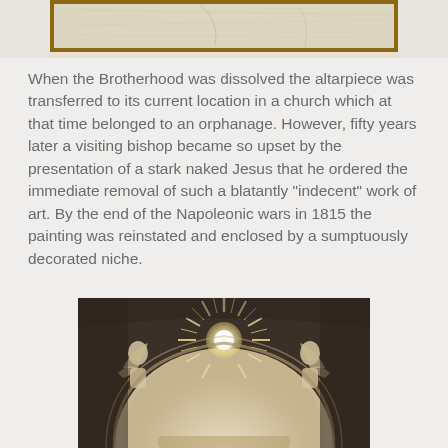[Figure (photo): Partial view of a framed painting or artwork, showing the top edge with a brown frame border and a beige/cream colored surface with faint lines.]
When the Brotherhood was dissolved the altarpiece was transferred to its current location in a church which at that time belonged to an orphanage. However, fifty years later a visiting bishop became so upset by the presentation of a stark naked Jesus that he ordered the immediate removal of such a blatantly "indecent" work of art. By the end of the Napoleonic wars in 1815 the painting was reinstated and enclosed by a sumptuously decorated niche.
[Figure (photo): A decorated church niche with ornate baroque-style stucco decorations including a sunburst/radiant glory at the top center flanked by angel figures on either side, with an arched architectural frame below, photographed in warm sepia tones.]